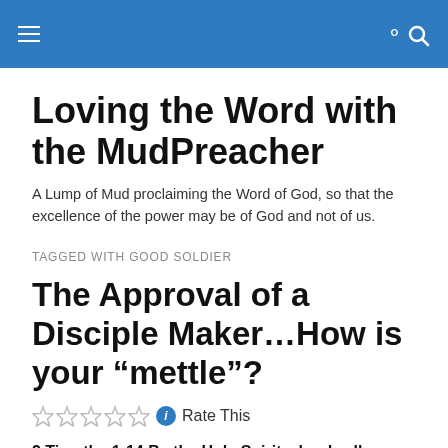Loving the Word with the MudPreacher
Loving the Word with the MudPreacher
A Lump of Mud proclaiming the Word of God, so that the excellence of the power may be of God and not of us.
TAGGED WITH GOOD SOLDIER
The Approval of a Disciple Maker…How is your “mettle”?
Rate This
2 Timothy 1:14 By the Holy Spirit who dwells within